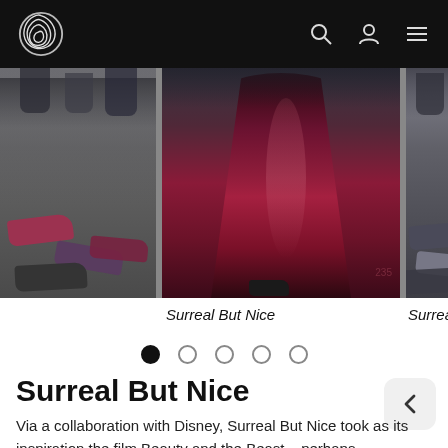Surreal But Nice — navigation bar with logo, search, account, menu icons
[Figure (photo): Fashion runway carousel showing three panels: left panel with shoes/feet on runway floor, center panel showing a model in a long flowing burgundy/dark red gown, right panel partially visible with more shoes on runway floor]
Surreal But Nice
Surreal Bu
[Figure (other): Carousel pagination dots: 5 dots, first dot filled black, remaining 4 empty/outline]
Surreal But Nice
Via a collaboration with Disney, Surreal But Nice took as its inspiration the film Beauty and the Beast – perhaps